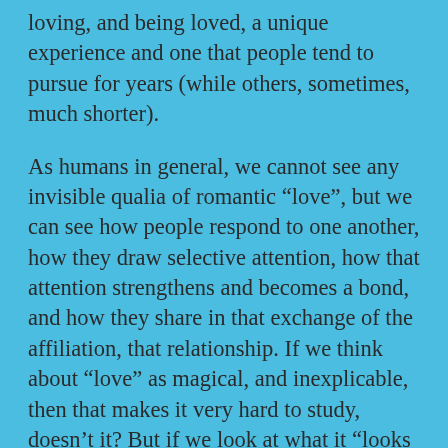loving, and being loved, a unique experience and one that people tend to pursue for years (while others, sometimes, much shorter).
As humans in general, we cannot see any invisible qualia of romantic “love”, but we can see how people respond to one another, how they draw selective attention, how that attention strengthens and becomes a bond, and how they share in that exchange of the affiliation, that relationship. If we think about “love” as magical, and inexplicable, then that makes it very hard to study, doesn’t it? But if we look at what it “looks like”, what people “do” or “exhibit”, then we get somewhere. Love. It happens so much that there surely have to be some common features, and since we are all